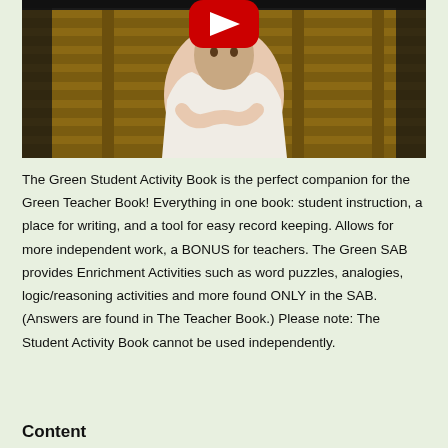[Figure (screenshot): Video thumbnail showing a person in a white blazer sitting in front of a wooden pallet wall background, with a red YouTube play button icon at the top center.]
The Green Student Activity Book is the perfect companion for the Green Teacher Book! Everything in one book: student instruction, a place for writing, and a tool for easy record keeping. Allows for more independent work, a BONUS for teachers. The Green SAB provides Enrichment Activities such as word puzzles, analogies, logic/reasoning activities and more found ONLY in the SAB. (Answers are found in The Teacher Book.) Please note: The Student Activity Book cannot be used independently.
Content